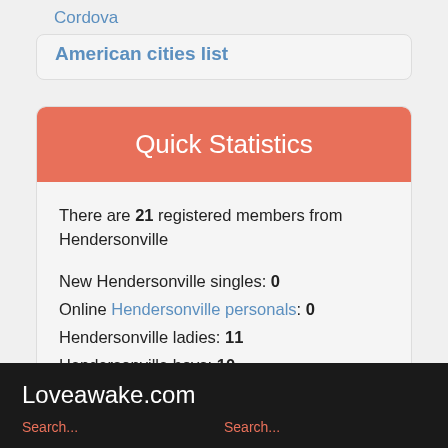Cordova
American cities list
Quick Statistics
There are 21 registered members from Hendersonville
New Hendersonville singles: 0
Online Hendersonville personals: 0
Hendersonville ladies: 11
Hendersonville boys: 10
Loveawake.com